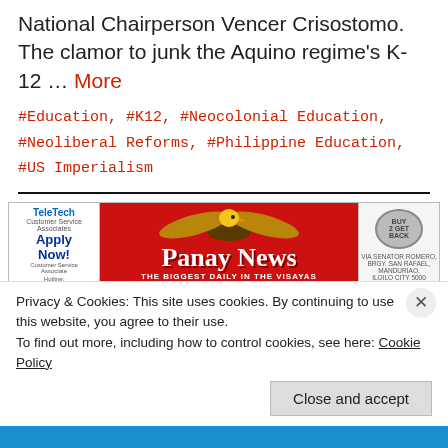National Chairperson Vencer Crisostomo. The clamor to junk the Aquino regime's K-12 … More
#Education, #K12, #Neocolonial Education, #Neoliberal Reforms, #Philippine Education, #US Imperialism
[Figure (photo): Panay News newspaper masthead — The Biggest Daily in the Visayas, with eagle logo, TeleTech ad on left, phone numbers on right]
Privacy & Cookies: This site uses cookies. By continuing to use this website, you agree to their use. To find out more, including how to control cookies, see here: Cookie Policy